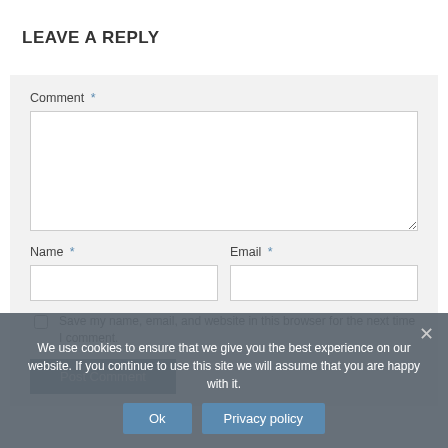LEAVE A REPLY
Comment *
Name *
Email *
Save my name, email, and website in this browser for the next time I comment.
Post Comment
We use cookies to ensure that we give you the best experience on our website. If you continue to use this site we will assume that you are happy with it.
Ok
Privacy policy